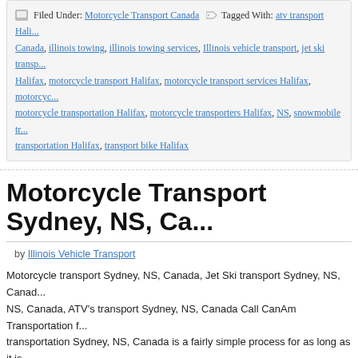Filed Under: Motorcycle Transport Canada  Tagged With: atv transport Halifax Canada, illinois towing, illinois towing services, Illinois vehicle transport, jet ski transport Halifax, motorcycle transport Halifax, motorcycle transport services Halifax, motorcycle transportation Halifax, motorcycle transporters Halifax, NS, snowmobile transportation Halifax, transport bike Halifax
Motorcycle Transport Sydney, NS, Ca...
by Illinois Vehicle Transport
Motorcycle transport Sydney, NS, Canada, Jet Ski transport Sydney, NS, Canada, NS, Canada, ATV's transport Sydney, NS, Canada Call CanAm Transportation ... transportation Sydney, NS, Canada is a fairly simple process for as long as it is trained for this task professional. There are virtually hundreds of motorcycle tra...
READ MORE...
Filed Under: Motorcycle Transport Canada  Tagged With: atv transport Sydney Canada, illinois towing, illinois towing services, Illinois vehicle transport, jet ski transport Sydney, motorcycle transport services Sydney, motorcycle transport Sydney, motorcycle transportation Sydney, motorcycle transporters Sydney, NS, sno...